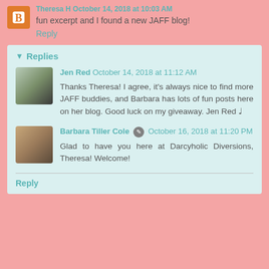Theresa H  October 14, 2018 at 10:03 AM
fun excerpt and I found a new JAFF blog!
Reply
Replies
Jen Red  October 14, 2018 at 11:12 AM
Thanks Theresa! I agree, it's always nice to find more JAFF buddies, and Barbara has lots of fun posts here on her blog. Good luck on my giveaway. Jen Red ♩
Barbara Tiller Cole  October 16, 2018 at 11:20 PM
Glad to have you here at Darcyholic Diversions, Theresa! Welcome!
Reply